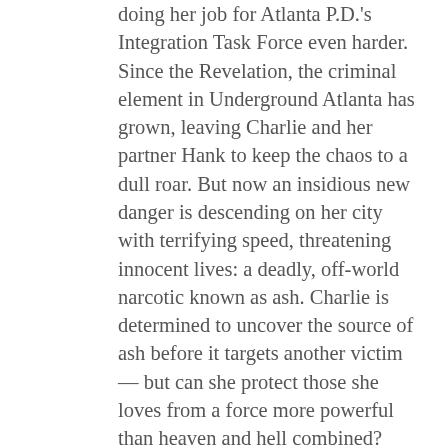doing her job for Atlanta P.D.'s Integration Task Force even harder. Since the Revelation, the criminal element in Underground Atlanta has grown, leaving Charlie and her partner Hank to keep the chaos to a dull roar. But now an insidious new danger is descending on her city with terrifying speed, threatening innocent lives: a deadly, off-world narcotic known as ash. Charlie is determined to uncover the source of ash before it targets another victim — but can she protect those she loves from a force more powerful than heaven and hell combined?
About the Author:
http://www.kellygay.net/